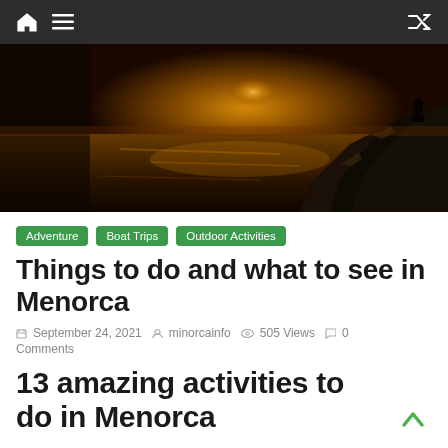Navigation bar with home icon, menu icon, and shuffle icon
[Figure (photo): Scenic sunset over rocky coastal cliffs in Menorca, with warm golden light reflecting off the sea and dark rocky formations in the foreground]
Adventure | Boat Trips | Outdoor Activities
Things to do and what to see in Menorca
September 24, 2021 · minorcainfo · 505 Views · 0 Comments
13 amazing activities to do in Menorca